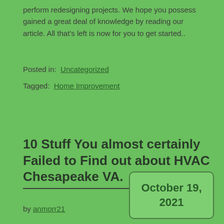perform redesigning projects. We hope you possess gained a great deal of knowledge by reading our article. All that's left is now for you to get started..
Posted in: Uncategorized
Tagged: Home Improvement
10 Stuff You almost certainly Failed to Find out about HVAC Chesapeake VA.
by anmorr21
October 19, 2021